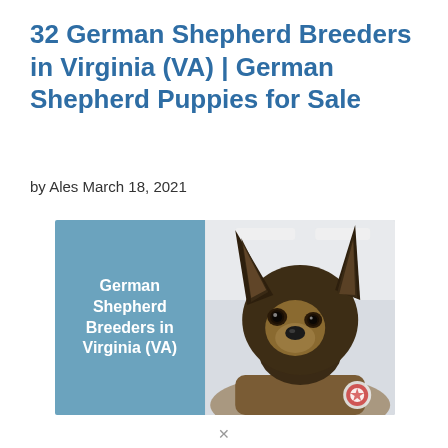32 German Shepherd Breeders in Virginia (VA) | German Shepherd Puppies for Sale
by Ales March 18, 2021
[Figure (photo): Composite image with a steel blue left panel containing white bold text 'German Shepherd Breeders in Virginia (VA)' and a right panel showing a close-up photo of a German Shepherd puppy lying down looking at the camera.]